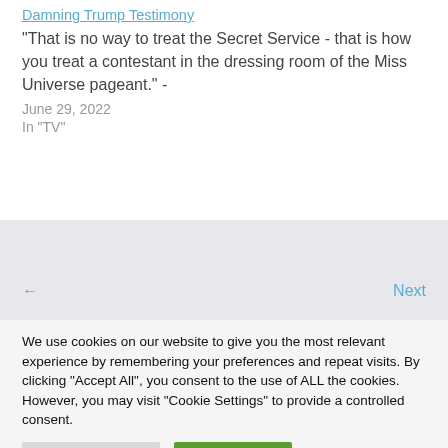Damning Trump Testimony
"That is no way to treat the Secret Service - that is how you treat a contestant in the dressing room of the Miss Universe pageant." -
June 29, 2022
In "TV"
← Next
We use cookies on our website to give you the most relevant experience by remembering your preferences and repeat visits. By clicking "Accept All", you consent to the use of ALL the cookies. However, you may visit "Cookie Settings" to provide a controlled consent.
Cookie Settings
Accept All